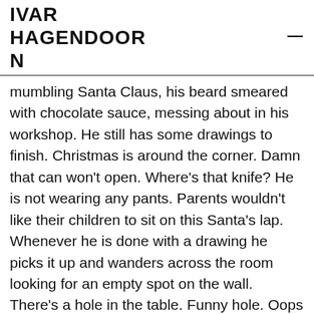IVAR HAGENDOORN
mumbling Santa Claus, his beard smeared with chocolate sauce, messing about in his workshop. He still has some drawings to finish. Christmas is around the corner. Damn that can won't open. Where's that knife? He is not wearing any pants. Parents wouldn't like their children to sit on this Santa's lap. Whenever he is done with a drawing he picks it up and wanders across the room looking for an empty spot on the wall. There's a hole in the table. Funny hole. Oops there goes a bottle of ketchup. Oops there goes another one. Where was I. Have to make another drawing. What about a donut? McCarthy bends forward and starts drawing some concentric circles. Dough nut. Do nought. Funny funny word that is.